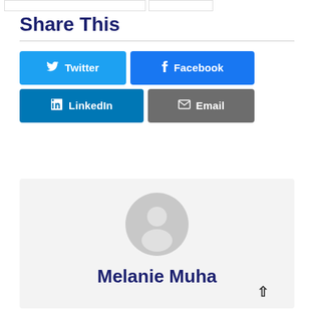Share This
Twitter | Facebook | LinkedIn | Email
[Figure (illustration): Gray circular default user avatar placeholder icon]
Melanie Muha